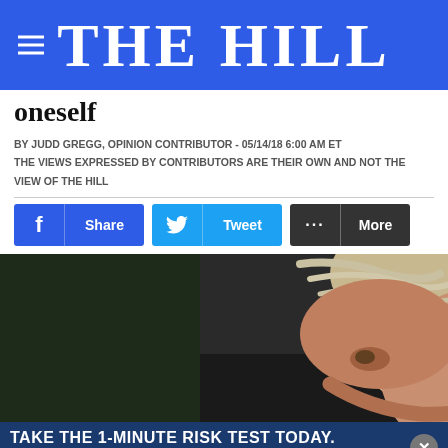THE HILL
oneself
BY JUDD GREGG, OPINION CONTRIBUTOR - 05/14/18 6:00 AM ET THE VIEWS EXPRESSED BY CONTRIBUTORS ARE THEIR OWN AND NOT THE VIEW OF THE HILL
[Figure (screenshot): Social sharing buttons: Facebook Share, Twitter Tweet, and More]
[Figure (photo): Close-up profile photo of a person with light gray/blonde hair against dark background]
[Figure (infographic): Advertisement banner: TAKE THE 1-MINUTE RISK TEST TODAY. DolHavePrediabetes.org with AMA and CDC logos]